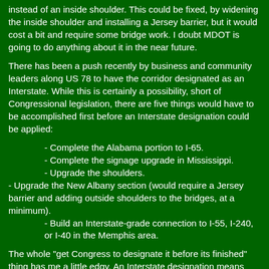instead of an inside shoulder.  This could be fixed, by widening the inside shoulder and installing a Jersey barrier, but it would cost a bit and require some bridge work.  I doubt MDOT is going to do anything about it in the near future.
There has been a push recently by business and community leaders along US 78 to have the corridor designated as an Interstate. While this is certainly a possibility, short of Congressional legislation, there are five things would have to be accomplished first before an Interstate designation could be applied:
- Complete the Alabama portion to I-65.
- Complete the signage upgrade in Mississippi.
- Upgrade the shoulders.
- Upgrade the New Albany section (would require a Jersey barrier and adding outside shoulders to the bridges, at a minimum).
- Build an Interstate-grade connection to I-55, I-240, or I-40 in the Memphis area.
The whole "get Congress to designate it before its finished" thing has me a little edgy. An Interstate designation means that the road you're on has been built to a certain minimum set of standards, and half of the corridor in Mississippi does not meet those standards. While pursuing an Interstate designation is worthwhile (and something I support), posting it before the road is up to standards sends the wrong message.